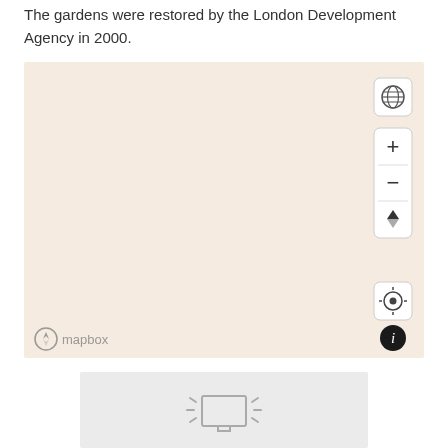The gardens were restored by the London Development Agency in 2000.
[Figure (map): An interactive Mapbox map embed showing a beige/tan blank map area with zoom controls (+/-), a compass/rotate button, a globe view toggle, a locate button, and an info button. The map background is empty (no features visible). The Mapbox logo appears in the bottom left.]
[Figure (other): Bottom portion of a loading/placeholder image with a monitor/screen icon with light rays on a light grey background.]